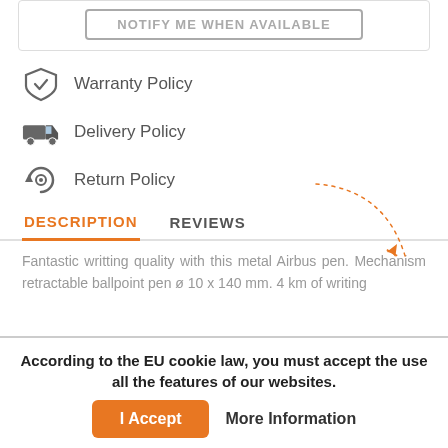[Figure (other): NOTIFY ME WHEN AVAILABLE button with border]
Warranty Policy
Delivery Policy
Return Policy
[Figure (illustration): Dotted arc with airplane arrow decorative icon in orange]
DESCRIPTION   REVIEWS
Fantastic writting quality with this metal Airbus pen. Mechanism retractable ballpoint pen ø 10 x 140 mm. 4 km of writing
According to the EU cookie law, you must accept the use all the features of our websites.
I Accept   More Information